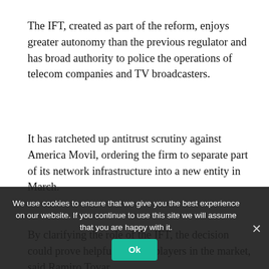The IFT, created as part of the reform, enjoys greater autonomy than the previous regulator and has broad authority to police the operations of telecom companies and TV broadcasters.
It has ratcheted up antitrust scrutiny against America Movil, ordering the firm to separate part of its network infrastructure into a new entity in March.
By clarifying the role of the IFT, the decision could prove helpful to other players in the market, said Ramiro Tovar [technological footnote of Mexico]... "The resolution is beneficial for the sector because it normalizes the economic...
We use cookies to ensure that we give you the best experience on our website. If you continue to use this site we will assume that you are happy with it.